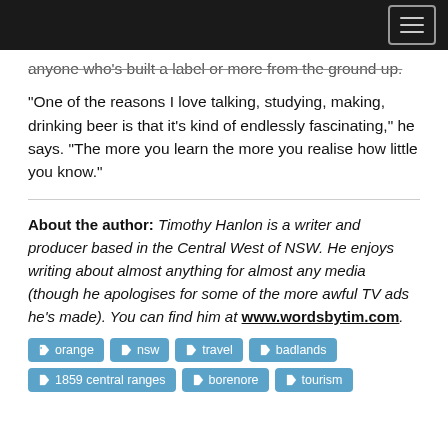[navigation bar with hamburger menu]
anyone who's built a label or more from the ground up.
“One of the reasons I love talking, studying, making, drinking beer is that it's kind of endlessly fascinating,” he says. “The more you learn the more you realise how little you know.”
About the author: Timothy Hanlon is a writer and producer based in the Central West of NSW. He enjoys writing about almost anything for almost any media (though he apologises for some of the more awful TV ads he's made). You can find him at www.wordsbytim.com.
orange
nsw
travel
badlands
1859 central ranges
borenore
tourism